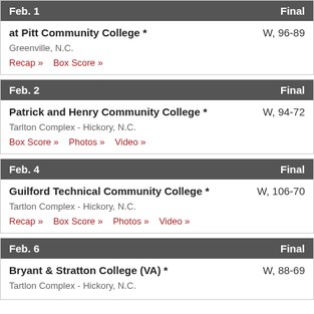| Date | Status |
| --- | --- |
| Feb. 1 | Final |
| at Pitt Community College * | W, 96-89 |
| Greenville, N.C. |  |
| Recap »  Box Score » |  |
| Date | Status |
| --- | --- |
| Feb. 2 | Final |
| Patrick and Henry Community College * | W, 94-72 |
| Tarlton Complex - Hickory, N.C. |  |
| Box Score »  Photos »  Video » |  |
| Date | Status |
| --- | --- |
| Feb. 4 | Final |
| Guilford Technical Community College * | W, 106-70 |
| Tartlon Complex - Hickory, N.C. |  |
| Recap »  Box Score »  Photos »  Video » |  |
| Date | Status |
| --- | --- |
| Feb. 6 | Final |
| Bryant & Stratton College (VA) * | W, 88-69 |
| Tartlon Complex - Hickory, N.C. |  |